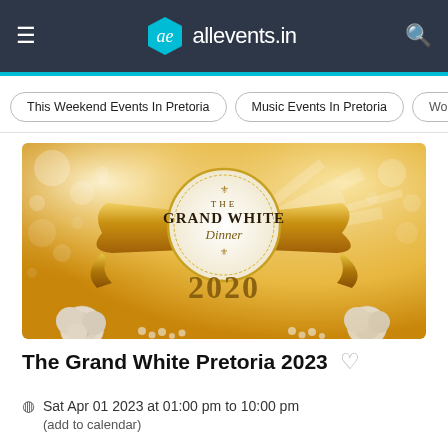allevents.in
This Weekend Events In Pretoria
Music Events In Pretoria
[Figure (illustration): The Grand White Dinner 2020 event banner with gold ribbon, sparkles, and white roses on gold background]
The Grand White Pretoria 2023
Sat Apr 01 2023 at 01:00 pm to 10:00 pm
(add to calendar)